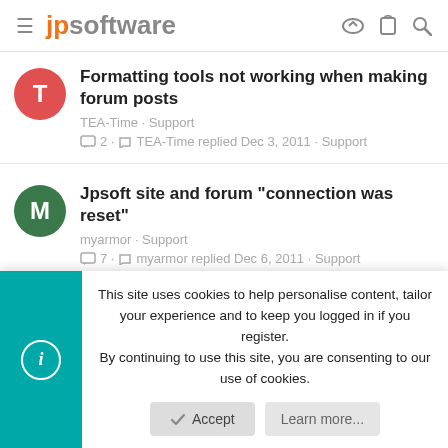jpsoftware
Formatting tools not working when making forum posts — TEA-Time · Support — 2 · TEA-Time replied Dec 3, 2011 · Support
Jpsoft site and forum "connection was reset" — myarmor · Support — 7 · myarmor replied Dec 6, 2011 · Support
Share:
This site uses cookies to help personalise content, tailor your experience and to keep you logged in if you register. By continuing to use this site, you are consenting to our use of cookies.